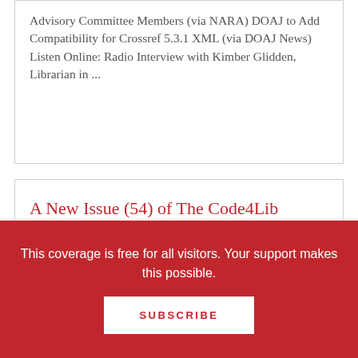Advisory Committee Members (via NARA) DOAJ to Add Compatibility for Crossref 5.3.1 XML (via DOAJ News) Listen Online: Radio Interview with Kimber Glidden, Librarian in ...
A New Issue (54) of The Code4Lib Journal is Now Available Online
Issue 54 of The Code 4 Library Journal was published online today. In Issue 54: Editorial: On FOSS in Libraries by Andrew Darby Preservation and Visualization of the Rural Route ...
This coverage is free for all visitors. Your support makes this possible.
SUBSCRIBE